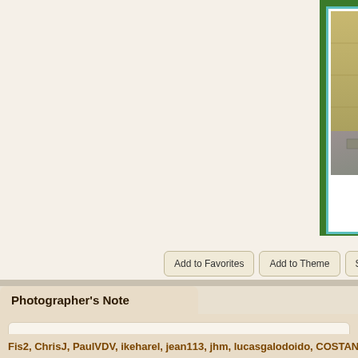[Figure (photo): Partial view of a photograph showing old stone streets of Sighisoara, with a child visible in a dark doorway. The photo is framed with a dark green outer border and teal/cyan inner border on white matting.]
Add to Favorites | Add to Theme | Start Discussion | Po...
Photographer's Note
Another of the decorative elements in the old streets of Sighisoara, are the stree... we saw some like the one I show you here.

--------------------------------------------------------

Otro de los elementos decorativos en las antiguas calles de Sighisoara, son las... la misma, aqu⬧ vimos alguna como la que os muestro aqu⬧.
Fis2, ChrisJ, PaulVDV, ikeharel, jean113, jhm, lucasgalodoido, COSTANTIN...